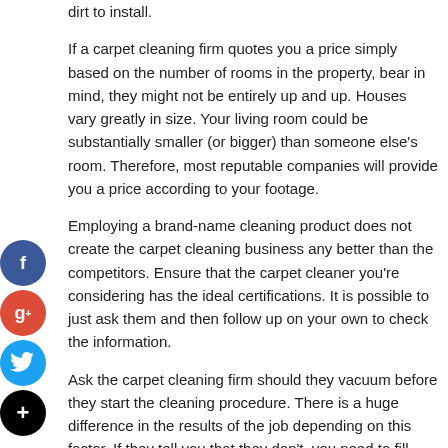dirt to install.
If a carpet cleaning firm quotes you a price simply based on the number of rooms in the property, bear in mind, they might not be entirely up and up. Houses vary greatly in size. Your living room could be substantially smaller (or bigger) than someone else's room. Therefore, most reputable companies will provide you a price according to your footage.
Employing a brand-name cleaning product does not create the carpet cleaning business any better than the competitors. Ensure that the carpet cleaner you're considering has the ideal certifications. It is possible to just ask them and then follow up on your own to check the information.
Ask the carpet cleaning firm should they vacuum before they start the cleaning procedure. There is a huge difference in the results of the job depending on this factor. If they tell you that they don't, you need to fill someone else. You want the task to get done as effectively as possible.
Be careful if you use a coupon from a carpet cleaning firm that you receive in the email. They will list extremely reduced costs to get the work, but when they come, they'll hit you with hidden charges to clean the house. Extras they will attempt to tack on at cost comprise place